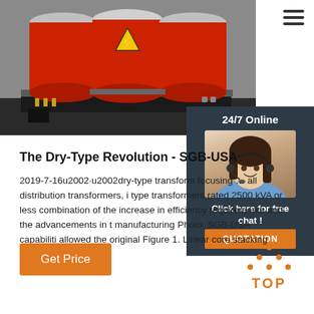[Figure (photo): Dry-type transformer with red cylindrical coils and yellow electrical hazard warning label, mounted on a black base frame. Three large red coils visible.]
[Figure (photo): 24/7 Online chat support panel with a smiling woman wearing a headset, dark blue panel background, Click here for free chat text in white, and orange QUOTATION button.]
The Dry-Type Revolution - SGB-USA
2019-7-16u2002·u2002dry-type transform focusing … all distribution transformers, i type transformers rated 2500 kVA or less combination of the increase in efficiency requirements and the advancements in t manufacturing Photo: SGB-USA capabiliti allowed the original Figure 1. Linear core stacking
Get Price